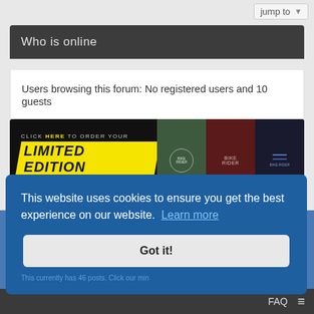Who is online
Users browsing this forum: No registered users and 10 guests
[Figure (photo): Banner advertisement for Limited Edition ABR T-Shirts showing three t-shirts in green, maroon, and navy with 'CLICK HERE TO ORDER YOUR LIMITED EDITION ABR T-SHIRTS TODAY' text on a yellow diagonal stripe]
join us
This website uses cookies to ensure you get the best experience on our website. Learn more
Got it!
This currently has 46 posts. Click our min
FAQ ≡